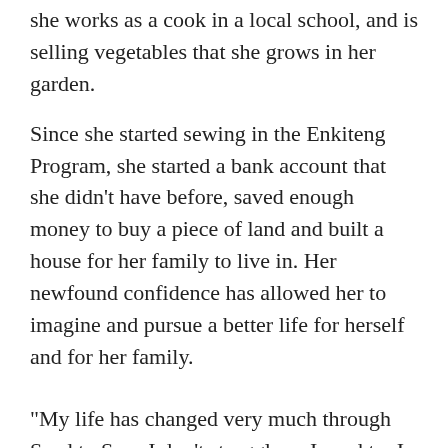she works as a cook in a local school, and is selling vegetables that she grows in her garden.
Since she started sewing in the Enkiteng Program, she started a bank account that she didn't have before, saved enough money to buy a piece of land and built a house for her family to live in. Her newfound confidence has allowed her to imagine and pursue a better life for herself and for her family.
“My life has changed very much through Seed to Sew. I don’t struggle as I used to, I buy food and clothes for my children without problem.
My children are attending school and I am happy.
Through Seed to Sew, you could let me to...